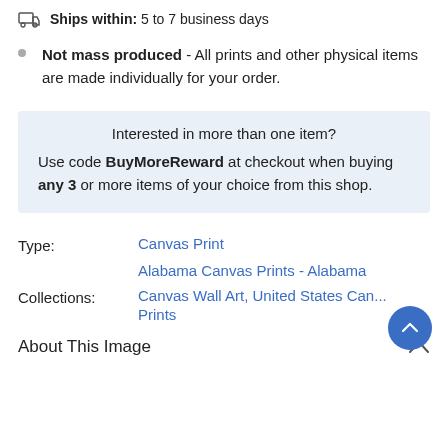Ships within: 5 to 7 business days
Not mass produced - All prints and other physical items are made individually for your order.
Interested in more than one item? Use code BuyMoreReward at checkout when buying any 3 or more items of your choice from this shop.
Type: Canvas Print
Collections: Alabama Canvas Prints - Alabama, Canvas Wall Art, United States Canvas Prints
About This Image